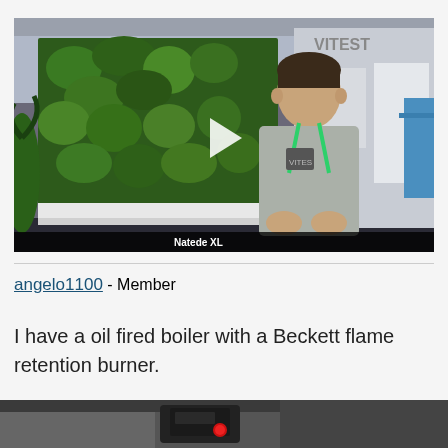[Figure (screenshot): Video thumbnail showing a man with a green lanyard at what appears to be a trade show or exhibition, standing in front of a green plant wall. A play button triangle is visible in the center. Text at the bottom reads 'Natede XL'.]
angelo1100 - Member
I have a oil fired boiler with a Beckett flame retention burner.
[Figure (photo): Partial photo at the bottom of the page showing what appears to be a device with a red button, dark/black background.]